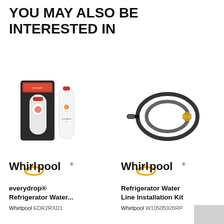YOU MAY ALSO BE INTERESTED IN
[Figure (photo): Whirlpool everydrop refrigerator water filter product photo showing filter in packaging alongside standalone bottle]
[Figure (photo): Whirlpool refrigerator water line installation kit showing black braided hose coiled with brass fitting]
[Figure (logo): Whirlpool brand logo]
[Figure (logo): Whirlpool brand logo]
everydrop® Refrigerator Water...
Refrigerator Water Line Installation Kit
Whirlpool EDR2RXD1
Whirlpool W10505928RP